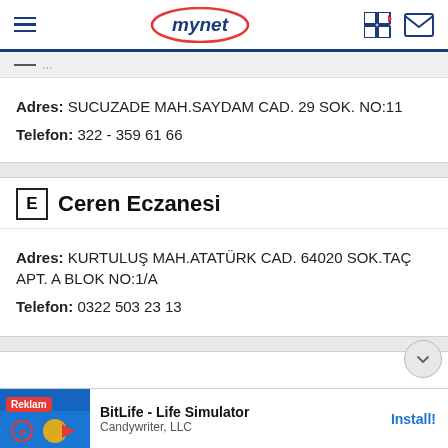mynet
Adres: SUCUZADE MAH.SAYDAM CAD. 29 SOK. NO:11
Telefon: 322 - 359 61 66
E Ceren Eczanesi
Adres: KURTULUŞ MAH.ATATÜRK CAD. 64020 SOK.TAÇ APT. A BLOK NO:1/A
Telefon: 0322 503 23 13
[Figure (screenshot): Ad banner for BitLife - Life Simulator by Candywriter, LLC with Install button]